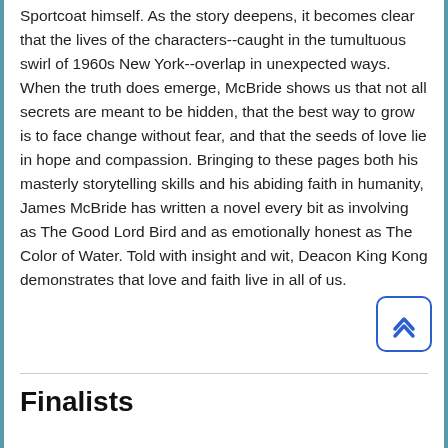Sportcoat himself. As the story deepens, it becomes clear that the lives of the characters--caught in the tumultuous swirl of 1960s New York--overlap in unexpected ways. When the truth does emerge, McBride shows us that not all secrets are meant to be hidden, that the best way to grow is to face change without fear, and that the seeds of love lie in hope and compassion. Bringing to these pages both his masterly storytelling skills and his abiding faith in humanity, James McBride has written a novel every bit as involving as The Good Lord Bird and as emotionally honest as The Color of Water. Told with insight and wit, Deacon King Kong demonstrates that love and faith live in all of us.
[Figure (other): Scroll-to-top button with double chevron up arrow, blue border, rounded rectangle]
Finalists
** Some of these titles are not available at Helen Hall Library, but can be requested for purchased or Interlibrary Loan. **
Homeland Elegies by Ayad Akhtar